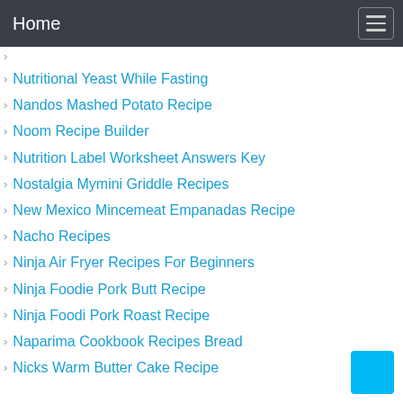Home
Nutritional Yeast While Fasting
Nandos Mashed Potato Recipe
Noom Recipe Builder
Nutrition Label Worksheet Answers Key
Nostalgia Mymini Griddle Recipes
New Mexico Mincemeat Empanadas Recipe
Nacho Recipes
Ninja Air Fryer Recipes For Beginners
Ninja Foodie Pork Butt Recipe
Ninja Foodi Pork Roast Recipe
Naparima Cookbook Recipes Bread
Nicks Warm Butter Cake Recipe